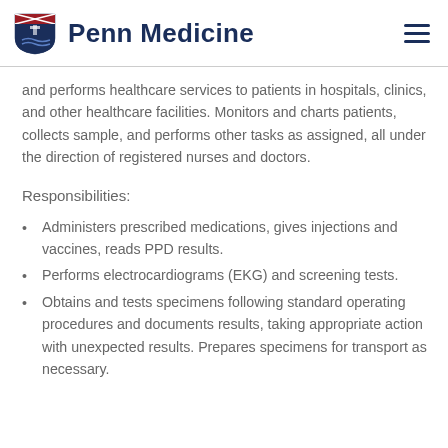Penn Medicine
and performs healthcare services to patients in hospitals, clinics, and other healthcare facilities. Monitors and charts patients, collects sample, and performs other tasks as assigned, all under the direction of registered nurses and doctors.
Responsibilities:
Administers prescribed medications, gives injections and vaccines, reads PPD results.
Performs electrocardiograms (EKG) and screening tests.
Obtains and tests specimens following standard operating procedures and documents results, taking appropriate action with unexpected results. Prepares specimens for transport as necessary.